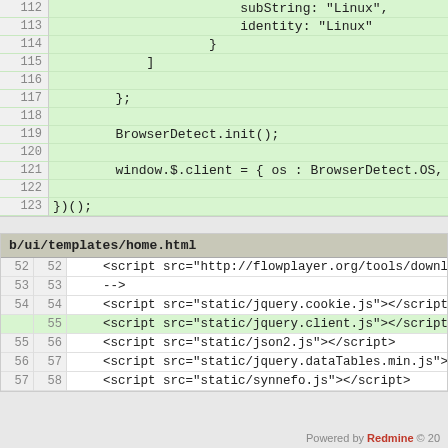[Figure (screenshot): Code diff screenshot showing two sections: top section is a green-highlighted code block with line numbers 112-123 showing JavaScript code (BrowserDetect), bottom section is a diff view of b/ui/templates/home.html with lines 52-58 showing HTML script tags, line 55 highlighted in green as an added line.]
Powered by Redmine © 20